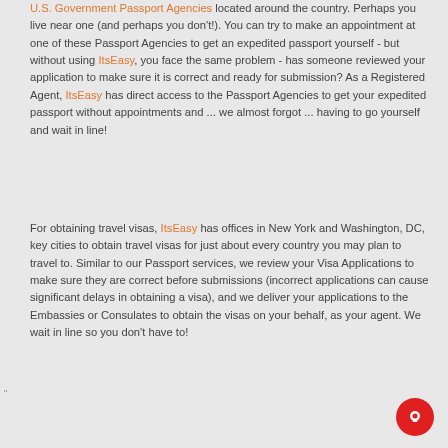U.S. Government Passport Agencies located around the country. Perhaps you live near one (and perhaps you don't!). You can try to make an appointment at one of these Passport Agencies to get an expedited passport yourself - but without using ItsEasy, you face the same problem - has someone reviewed your application to make sure it is correct and ready for submission? As a Registered Agent, ItsEasy has direct access to the Passport Agencies to get your expedited passport without appointments and ... we almost forgot ... having to go yourself and wait in line!
For obtaining travel visas, ItsEasy has offices in New York and Washington, DC, key cities to obtain travel visas for just about every country you may plan to travel to. Similar to our Passport services, we review your Visa Applications to make sure they are correct before submissions (incorrect applications can cause significant delays in obtaining a visa), and we deliver your applications to the Embassies or Consulates to obtain the visas on your behalf, as your agent. We wait in line so you don't have to!